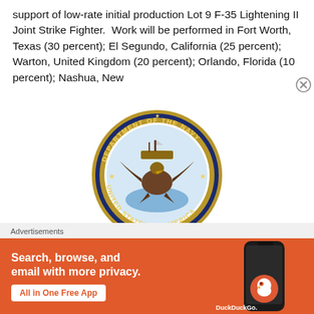support of low-rate initial production Lot 9 F-35 Lightening II Joint Strike Fighter.  Work will be performed in Fort Worth, Texas (30 percent); El Segundo, California (25 percent); Warton, United Kingdom (20 percent); Orlando, Florida (10 percent); Nashua, New
[Figure (logo): Department of the Navy, United States of America official seal — circular seal with eagle and ship imagery, gold and navy blue border with text around the circumference]
Advertisements
[Figure (screenshot): DuckDuckGo advertisement banner with orange background. Text: 'Search, browse, and email with more privacy. All in One Free App'. Shows a smartphone with DuckDuckGo logo.]